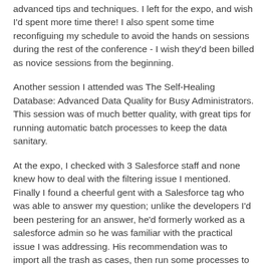advanced tips and techniques. I left for the expo, and wish I'd spent more time there! I also spent some time reconfiguing my schedule to avoid the hands on sessions during the rest of the conference - I wish they'd been billed as novice sessions from the beginning.
Another session I attended was The Self-Healing Database: Advanced Data Quality for Busy Administrators. This session was of much better quality, with great tips for running automatic batch processes to keep the data sanitary.
At the expo, I checked with 3 Salesforce staff and none knew how to deal with the filtering issue I mentioned. Finally I found a cheerful gent with a Salesforce tag who was able to answer my question; unlike the developers I'd been pestering for an answer, he'd formerly worked as a salesforce admin so he was familiar with the practical issue I was addressing. His recommendation was to import all the trash as cases, then run some processes to automatically close inappropriate cases and suppress them from user views. Still that would require someone to make a list of nasty terms for us to use as the basis of a filter; but I